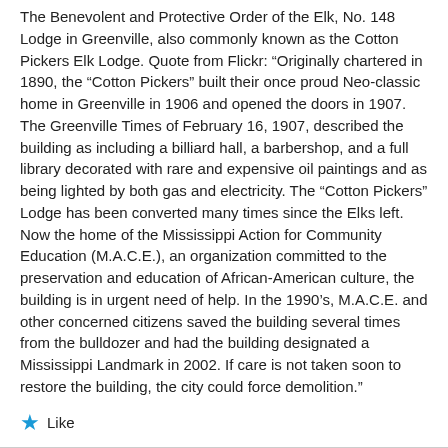The Benevolent and Protective Order of the Elk, No. 148 Lodge in Greenville, also commonly known as the Cotton Pickers Elk Lodge. Quote from Flickr: “Originally chartered in 1890, the “Cotton Pickers” built their once proud Neo-classic home in Greenville in 1906 and opened the doors in 1907. The Greenville Times of February 16, 1907, described the building as including a billiard hall, a barbershop, and a full library decorated with rare and expensive oil paintings and as being lighted by both gas and electricity. The “Cotton Pickers” Lodge has been converted many times since the Elks left. Now the home of the Mississippi Action for Community Education (M.A.C.E.), an organization committed to the preservation and education of African-American culture, the building is in urgent need of help. In the 1990’s, M.A.C.E. and other concerned citizens saved the building several times from the bulldozer and had the building designated a Mississippi Landmark in 2002. If care is not taken soon to restore the building, the city could force demolition.”
Like